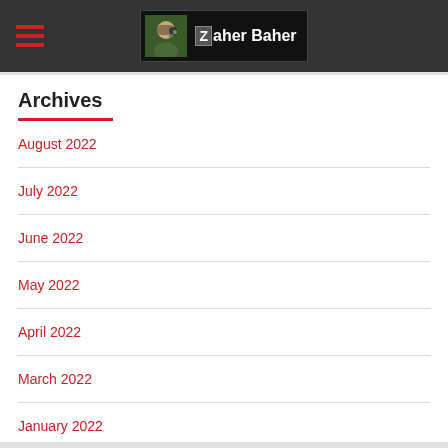Zaher Baher
Archives
August 2022
July 2022
June 2022
May 2022
April 2022
March 2022
January 2022